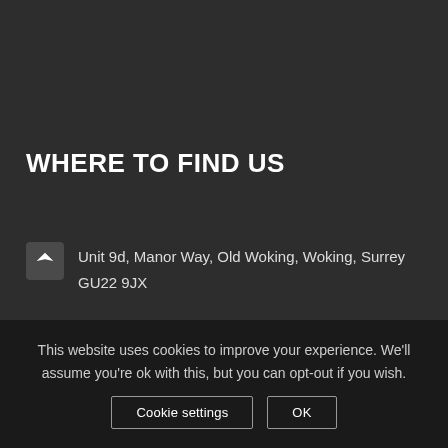WHERE TO FIND US
Unit 9d, Manor Way, Old Woking, Woking, Surrey GU22 9JX
This website uses cookies to improve your experience. We'll assume you're ok with this, but you can opt-out if you wish.
Cookie settings
OK